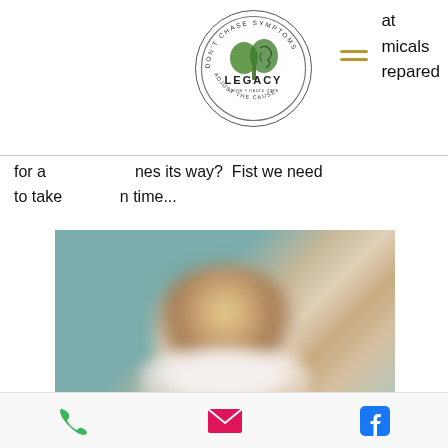[Figure (logo): Don't Chase Symptoms – Legacy Spine & Neuropathy circular logo with tree/brain graphic]
at
micals
prepared
for a... nes its way? Fist we need
to take... n time...
[Figure (photo): Blurred/out-of-focus portrait photo of a person with light hair against teal/blue background]
[Figure (infographic): Footer with phone icon (green), email icon (pink/red), and Facebook icon (blue)]